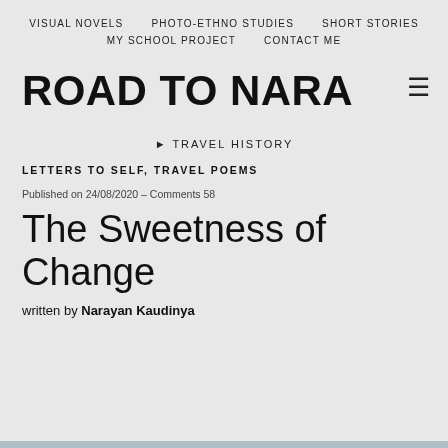VISUAL NOVELS   PHOTO-ETHNO STUDIES   SHORT STORIES   MY SCHOOL PROJECT   CONTACT ME
ROAD TO NARA
▶ TRAVEL HISTORY
LETTERS TO SELF, TRAVEL POEMS
Published on 24/08/2020 – Comments 58
The Sweetness of Change
written by Narayan Kaudinya